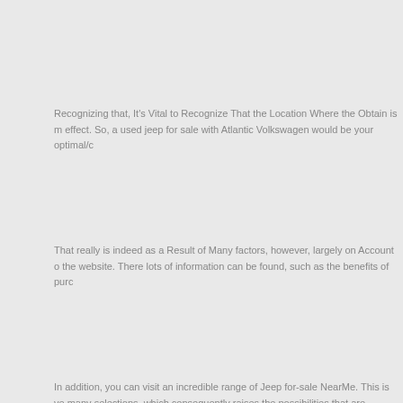Recognizing that, It's Vital to Recognize That the Location Where the Obtain is m... effect. So, a used jeep for sale with Atlantic Volkswagen would be your optimal/c...
That really is indeed as a Result of Many factors, however, largely on Account o... the website. There lots of information can be found, such as the benefits of purc...
In addition, you can visit an incredible range of Jeep for-sale NearMe. This is ve... many selections, which consequently raises the possibilities that are satisfactory...
Atlantic Volkswagen Isn't any platform, because it is accountable For fulfilling th... which secondhand vehicles are not just cheaper but also have other long-term b...
The energy that a used jeep for Sale conveys is massive, and you also have it in... this stage, with the info it provides, make the service .
You can also know the requirements for a Safe purchase about the Website Fas... behind, what's much more, there's a gigantic benefit in this part, and that's value...
The Jeep for Sale Near me More convenient than , with possibilities of all sorts...